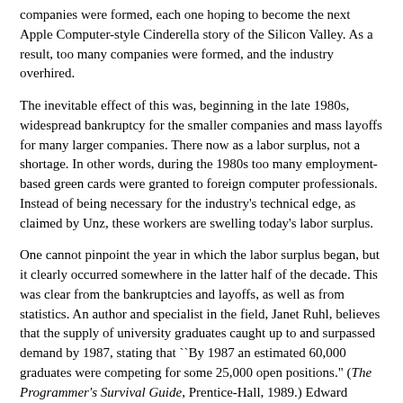companies were formed, each one hoping to become the next Apple Computer-style Cinderella story of the Silicon Valley. As a result, too many companies were formed, and the industry overhired.
The inevitable effect of this was, beginning in the late 1980s, widespread bankruptcy for the smaller companies and mass layoffs for many larger companies. There now as a labor surplus, not a shortage. In other words, during the 1980s too many employment-based green cards were granted to foreign computer professionals. Instead of being necessary for the industry's technical edge, as claimed by Unz, these workers are swelling today's labor surplus.
One cannot pinpoint the year in which the labor surplus began, but it clearly occurred somewhere in the latter half of the decade. This was clear from the bankruptcies and layoffs, as well as from statistics. An author and specialist in the field, Janet Ruhl, believes that the supply of university graduates caught up to and surpassed demand by 1987, stating that ``By 1987 an estimated 60,000 graduates were competing for some 25,000 open positions." (The Programmer's Survival Guide, Prentice-Hall, 1989.) Edward Yourdon, a prominent author on software development management techniques, thinks that even in 1984 there were more new university graduates in the field than there were job openings. (The Decline and Fall of the American Programmer, Prentice-Hall, 1993, p.12.)